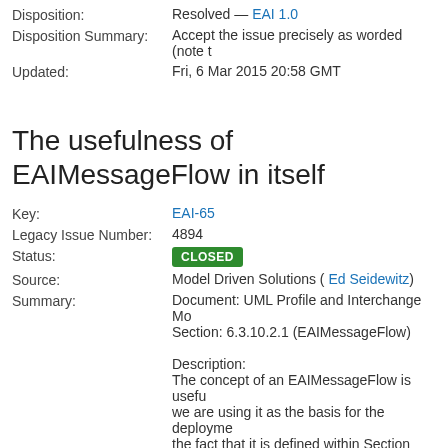Disposition: Resolved — EAI 1.0
Disposition Summary: Accept the issue precisely as worded (note t…
Updated: Fri, 6 Mar 2015 20:58 GMT
The usefulness of EAIMessageFlow in itself
Key: EAI-65
Legacy Issue Number: 4894
Status: CLOSED
Source: Model Driven Solutions ( Ed Seidewitz)
Summary: Document: UML Profile and Interchange Mo… Section: 6.3.10.2.1 (EAIMessageFlow)

Description:
The concept of an EAIMessageFlow is usefu… we are using it as the basis for the deployme… the fact that it is defined within Section 6.3.1… compound operators.

Recommendation: